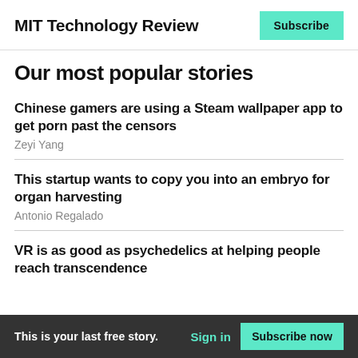MIT Technology Review
Our most popular stories
Chinese gamers are using a Steam wallpaper app to get porn past the censors
Zeyi Yang
This startup wants to copy you into an embryo for organ harvesting
Antonio Regalado
VR is as good as psychedelics at helping people reach transcendence
This is your last free story.  Sign in  Subscribe now